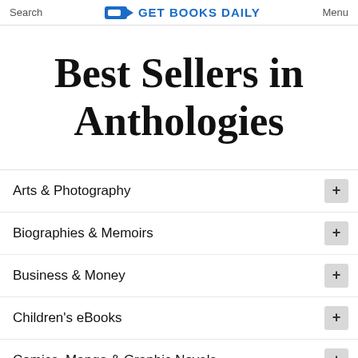Search   GET BOOKS DAILY   Menu
Best Sellers in Anthologies
Arts & Photography
Biographies & Memoirs
Business & Money
Children's eBooks
Comics, Manga & Graphic Novels